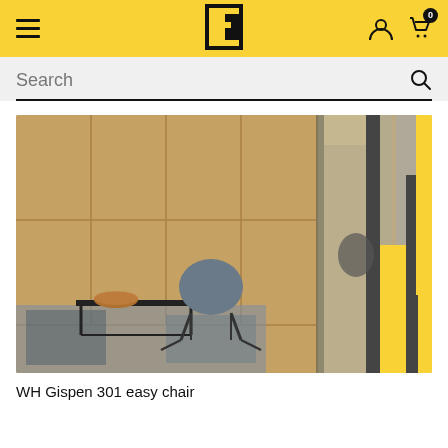Header with hamburger menu, logo, user icon, and cart with badge 0
Search
[Figure (photo): Interior showroom photo showing a modern chair with wooden wall panels, glass partition, and yellow flooring accent in background]
WH Gispen 301 easy chair